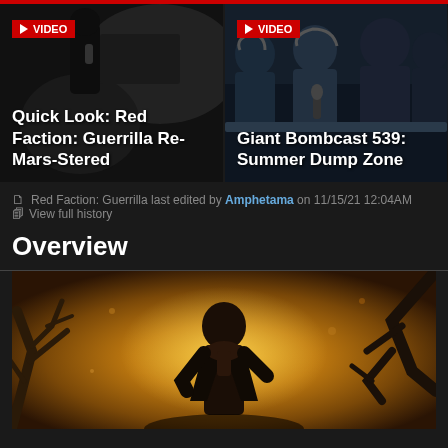[Figure (screenshot): Website screenshot showing two video thumbnails side-by-side. Left: 'Quick Look: Red Faction: Guerrilla Re-Mars-Stered' with VIDEO badge. Right: 'Giant Bombcast 539: Summer Dump Zone' with VIDEO badge. Both thumbnails show dark gaming/podcast imagery.]
Red Faction: Guerrilla last edited by Amphetama on 11/15/21 12:04AM
View full history
Overview
[Figure (illustration): Game cover art for Red Faction: Guerrilla showing a dark-skinned male character in the foreground against a warm golden/orange Martian landscape with dead tree branches and debris in the background.]